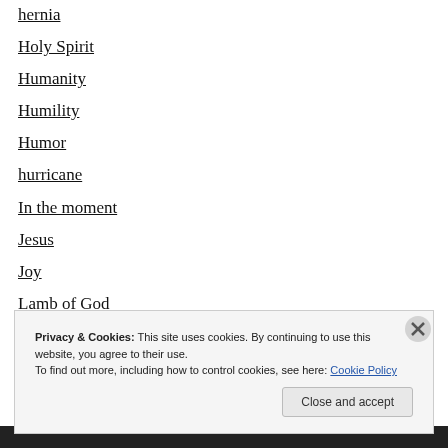hernia
Holy Spirit
Humanity
Humility
Humor
hurricane
In the moment
Jesus
Joy
Lamb of God
Leadership
Privacy & Cookies: This site uses cookies. By continuing to use this website, you agree to their use.
To find out more, including how to control cookies, see here: Cookie Policy
Close and accept